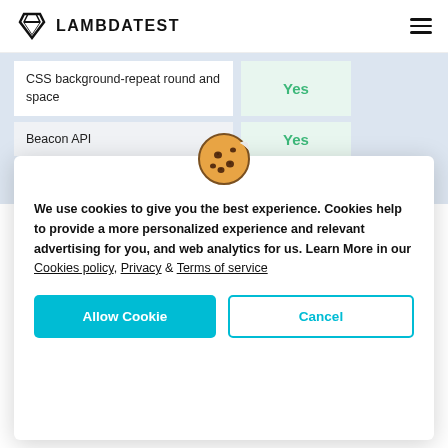LAMBDATEST
| Feature | Support |
| --- | --- |
| CSS background-repeat round and space | Yes |
| Beacon API | Yes |
| Printing Events | Yes |
[Figure (illustration): Cookie emoji icon]
We use cookies to give you the best experience. Cookies help to provide a more personalized experience and relevant advertising for you, and web analytics for us. Learn More in our Cookies policy, Privacy & Terms of service
Allow Cookie | Cancel